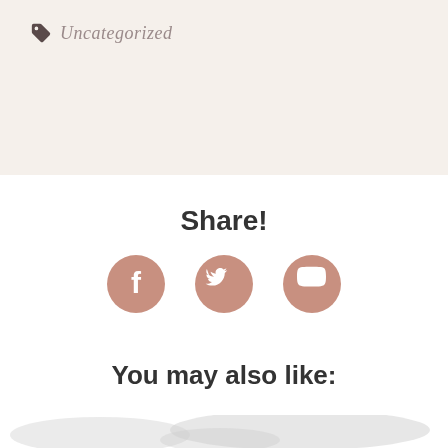Uncategorized
Share!
[Figure (illustration): Social media icons: Facebook, Twitter, Pinterest in muted rose/dusty pink color]
You may also like:
[Figure (photo): Child holding an olive/army green telephone handset to their ear, with a faint world map silhouette in the background]